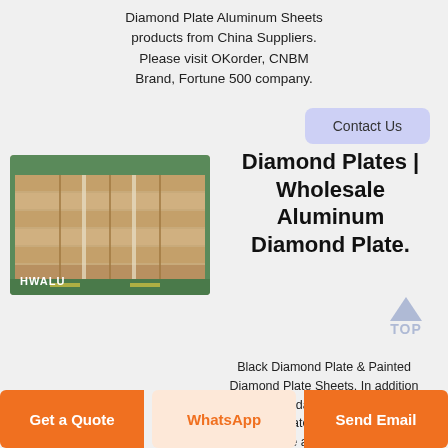Diamond Plate Aluminum Sheets products from China Suppliers. Please visit OKorder, CNBM Brand, Fortune 500 company.
Contact Us
[Figure (photo): Stacked aluminum sheets on pallets in a warehouse, with HWALU label]
Diamond Plates | Wholesale Aluminum Diamond Plate.
Black Diamond Plate & Painted Diamond Plate Sheets. In addition to our standard silver aluminum diamond plate sheets, we provide wholesale aluminum diamond
Get a Quote
WhatsApp
Send Email